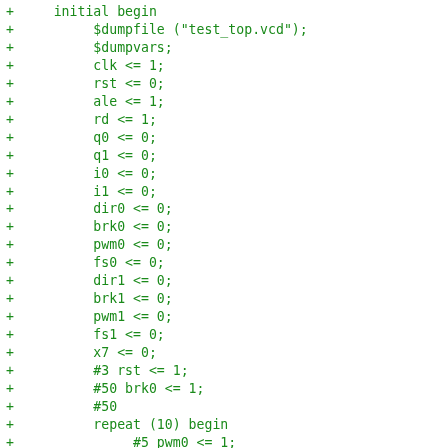+     initial begin
+          $dumpfile ("test_top.vcd");
+          $dumpvars;
+          clk <= 1;
+          rst <= 0;
+          ale <= 1;
+          rd <= 1;
+          q0 <= 0;
+          q1 <= 0;
+          i0 <= 0;
+          i1 <= 0;
+          dir0 <= 0;
+          brk0 <= 0;
+          pwm0 <= 0;
+          fs0 <= 0;
+          dir1 <= 0;
+          brk1 <= 0;
+          pwm1 <= 0;
+          fs1 <= 0;
+          x7 <= 0;
+          #3 rst <= 1;
+          #50 brk0 <= 1;
+          #50
+          repeat (10) begin
+               #5 pwm0 <= 1;
+               #5 pwm0 <= 0;
+          end
+          dir0 <= 1;
+          repeat (10) begin
+               #5 pwm0 <= 1;